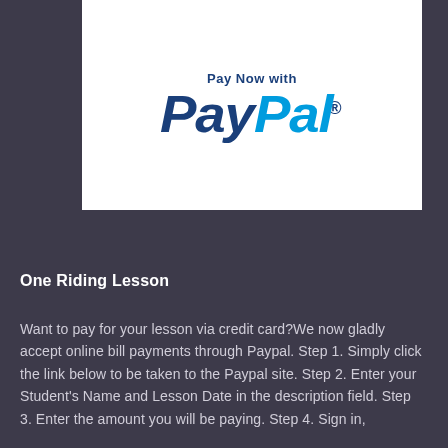[Figure (logo): PayPal logo on white background with text 'Pay Now with PayPal']
One Riding Lesson
Want to pay for your lesson via credit card?We now gladly accept online bill payments through Paypal. Step 1. Simply click the link below to be taken to the Paypal site. Step 2. Enter your Student's Name and Lesson Date in the description field. Step 3. Enter the amount you will be paying. Step 4. Sign in,